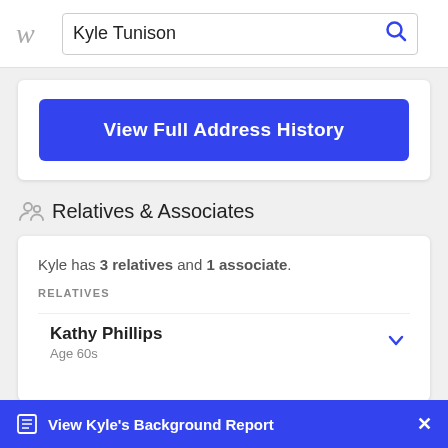Kyle Tunison
View Full Address History
Relatives & Associates
Kyle has 3 relatives and 1 associate.
RELATIVES
Kathy Phillips
Age 60s
View Kyle's Background Report